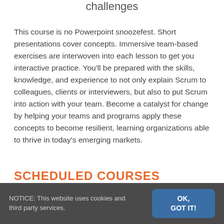challenges
This course is no Powerpoint snoozefest. Short presentations cover concepts. Immersive team-based exercises are interwoven into each lesson to get you interactive practice. You'll be prepared with the skills, knowledge, and experience to not only explain Scrum to colleagues, clients or interviewers, but also to put Scrum into action with your team. Become a catalyst for change by helping your teams and programs apply these concepts to become resilient, learning organizations able to thrive in today's emerging markets.
SCHEDULED COURSES
NOTICE: This website uses cookies and third party services.
OK, GOT IT!